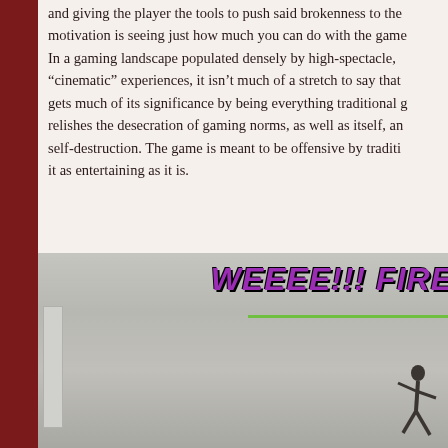and giving the player the tools to push said brokenness to the motivation is seeing just how much you can do with the game
In a gaming landscape populated densely by high-spectacle, "cinematic" experiences, it isn't much of a stretch to say that gets much of its significance by being everything traditional game relishes the desecration of gaming norms, as well as itself, and self-destruction. The game is meant to be offensive by traditional it as entertaining as it is.
[Figure (screenshot): Game screenshot showing a greyish outdoor scene with a character silhouette on the right side. Bold purple text reads 'WEEEE!!! FIRE' at the top right with a green underline. A tower or building structure is visible on the left side.]